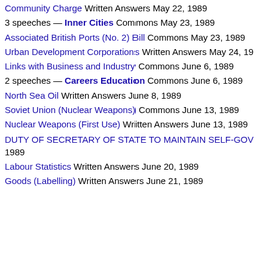Community Charge Written Answers May 22, 1989
3 speeches — Inner Cities Commons May 23, 1989
Associated British Ports (No. 2) Bill Commons May 23, 1989
Urban Development Corporations Written Answers May 24, 19…
Links with Business and Industry Commons June 6, 1989
2 speeches — Careers Education Commons June 6, 1989
North Sea Oil Written Answers June 8, 1989
Soviet Union (Nuclear Weapons) Commons June 13, 1989
Nuclear Weapons (First Use) Written Answers June 13, 1989
DUTY OF SECRETARY OF STATE TO MAINTAIN SELF-GOV… 1989
Labour Statistics Written Answers June 20, 1989
Goods (Labelling) Written Answers June 21, 1989